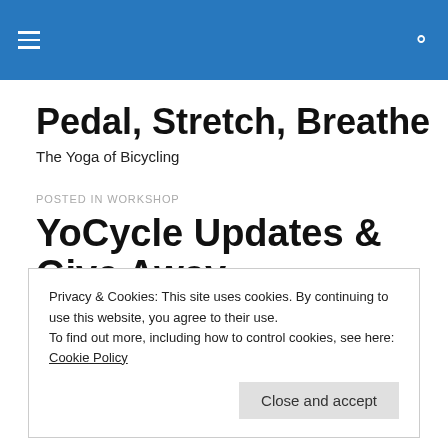Pedal, Stretch, Breathe
The Yoga of Bicycling
POSTED IN WORKSHOP
YoCycle Updates & Give Away
Privacy & Cookies: This site uses cookies. By continuing to use this website, you agree to their use.
To find out more, including how to control cookies, see here: Cookie Policy
Close and accept